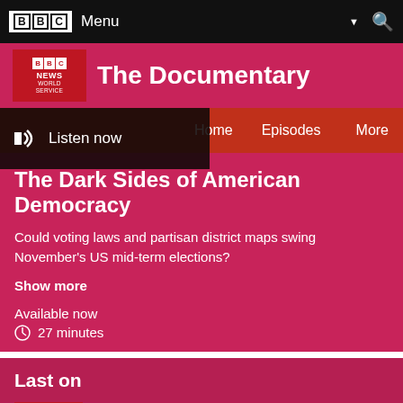BBC Menu
The Documentary
Listen now
The Documentary Home  Episodes  More
The Dark Sides of American Democracy
Could voting laws and partisan district maps swing November's US mid-term elections?
Show more
Available now
27 minutes
Last on
Sun 4 Nov 2018
18:06